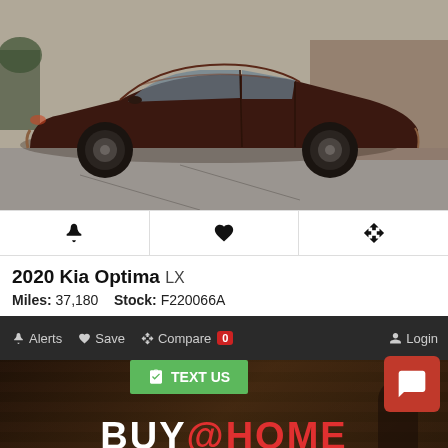[Figure (photo): Dark maroon/brown 2020 Kia Optima LX sedan photographed from the side in a parking lot]
🔔  ♥  ⇄
2020 Kia Optima LX
Miles: 37,180   Stock: F220066A
Alerts  Save  Compare 0  Login
[Figure (screenshot): BUY@HOME banner with TEXT US button and chat widget overlaid on bottom section]